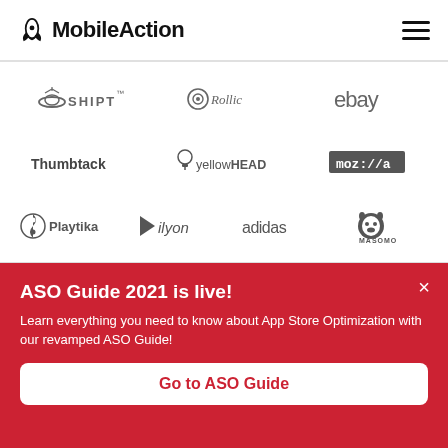MobileAction
[Figure (logo): Row of brand logos: Shipt, Rollic, eBay]
[Figure (logo): Row of brand logos: Thumbtack, yellowHEAD, moz://a]
[Figure (logo): Row of brand logos: Playtika, ilyon, adidas, MASOMO]
ASO Guide 2021 is live!
Learn everything you need to know about App Store Optimization with our revamped ASO Guide!
Go to ASO Guide